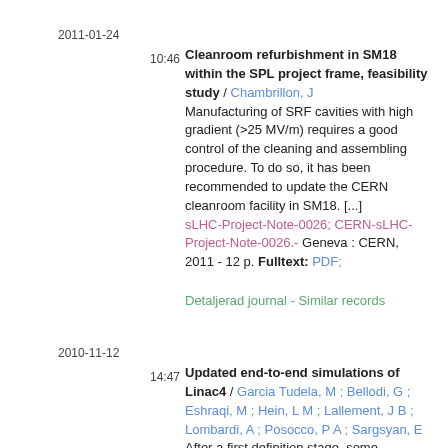2011-01-24
10:46
Cleanroom refurbishment in SM18 within the SPL project frame, feasibility study / Chambrillon, J
Manufacturing of SRF cavities with high gradient (>25 MV/m) requires a good control of the cleaning and assembling procedure. To do so, it has been recommended to update the CERN cleanroom facility in SM18. [...]
sLHC-Project-Note-0026; CERN-sLHC-Project-Note-0026.- Geneva : CERN, 2011 - 12 p. Fulltext: PDF;
Detaljerad journal - Similar records
2010-11-12
14:47
Updated end-to-end simulations of Linac4 / Garcia Tudela, M ; Bellodi, G ; Eshraqi, M ; Hein, L M ; Lallement, J B ; Lombardi, A ; Posocco, P A ; Sargsyan, E
After a first definition stage, some changes were applied to Linac4 layout in order to refine some